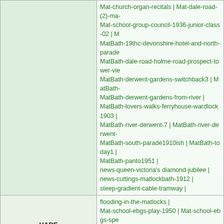| Name | Records |
| --- | --- |
|  | Mat-church-organ-recitals | Mat-dale-road-(2)-ma... Mat-school-group-council-1936-junior-class-02 | M MatBath-19thc-devonshire-hotel-and-north-parade MatBath-dale-road-holme-road-prospect-tower-vie MatBath-derwent-gardens-switchback3 | MatBath- MatBath-derwent-gardens-from-river | MatBath-lovers-walks-ferryhouse-wardlock1903 | MatBath-river-derwent-7 | MatBath-river-derwent- MatBath-south-parade1910ish | MatBath-today1 | MatBath-panto1951 | news-queen-victoria's diamond-jubilee | news-cuttings-matlockbath-1912 | steep-gradient-cable-tramway | |
| HARE | flooding-in-the-matlocks | Mat-school-ebgs-play-1950 | Mat-school-ebgs-spe MatBath-from-cat-tor-2 | MatDale-high-tor-and-colour-works | MatDale-wei |
| HAREWOOD, Lord | Pedigree of HAYWARD | |
| HARGRAVES | news-queen-victoria's-diamond-jubilee | |
| HARGREAVES | Riber-school-group-1918 | news-queen-victoria's-diamond-jubilee | news-cut |
| HARKER | Matlock, famous for 19thc hydropathy cures (gene Mat-dale-road-early20thc | |
| HARLEY and BARKER | Mat-smedleys-hydro-menu-christmas-banquet-19 |
| HARNESS | MatBath... |